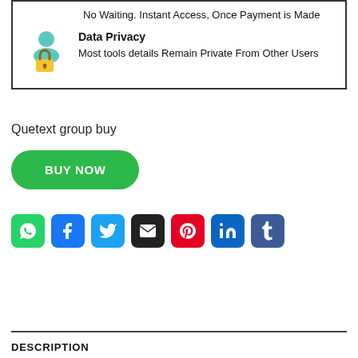No Waiting. Instant Access, Once Payment is Made
Data Privacy
Most tools details Remain Private From Other Users
Quetext group buy
BUY NOW
[Figure (other): Social sharing buttons row: WhatsApp (green), Facebook (blue), Twitter (light blue), Email (black), Pinterest (red), LinkedIn (blue), Tumblr (dark blue)]
DESCRIPTION